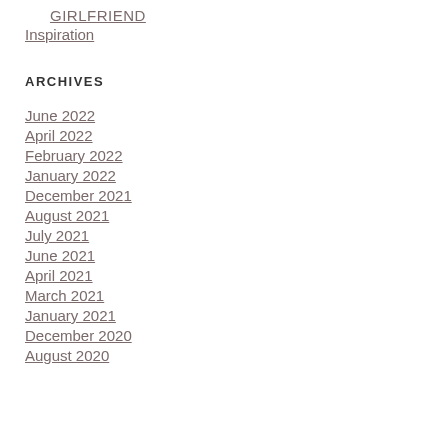GIRLFRIEND
Inspiration
ARCHIVES
June 2022
April 2022
February 2022
January 2022
December 2021
August 2021
July 2021
June 2021
April 2021
March 2021
January 2021
December 2020
August 2020